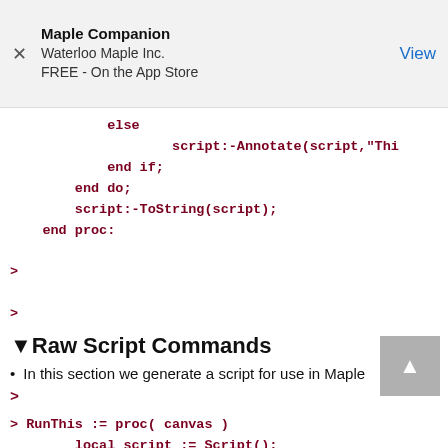Maple Companion
Waterloo Maple Inc.
FREE - On the App Store
View
else
    script:-Annotate(script,"Thi
    end if;
    end do;
script:-ToString(script);
end proc:
>
>
▼Raw Script Commands
In this section we generate a script for use in Maple
>
> RunThis := proc( canvas )
    local script := Script();
    for local m in GetMath(canvas) do